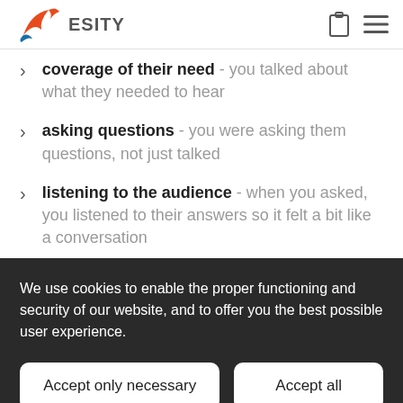ESITY
coverage of their need - you talked about what they needed to hear
asking questions - you were asking them questions, not just talked
listening to the audience - when you asked, you listened to their answers so it felt a bit like a conversation
We use cookies to enable the proper functioning and security of our website, and to offer you the best possible user experience.
Accept only necessary
Accept all